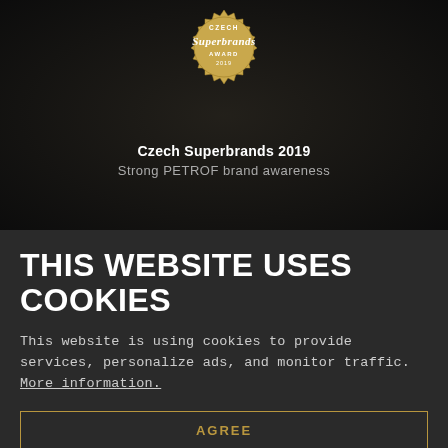[Figure (logo): Czech Superbrands Award 2019 badge/seal in gold and white, circular with gear-like border]
Czech Superbrands 2019
Strong PETROF brand awareness
THIS WEBSITE USES COOKIES
This website is using cookies to provide services, personalize ads, and monitor traffic. More information.
AGREE